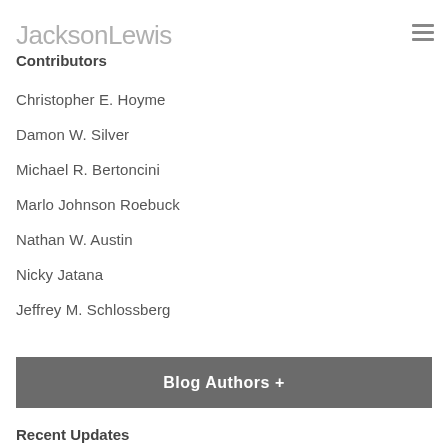JacksonLewis
Contributors
Christopher E. Hoyme
Damon W. Silver
Michael R. Bertoncini
Marlo Johnson Roebuck
Nathan W. Austin
Nicky Jatana
Jeffrey M. Schlossberg
Blog Authors +
Recent Updates